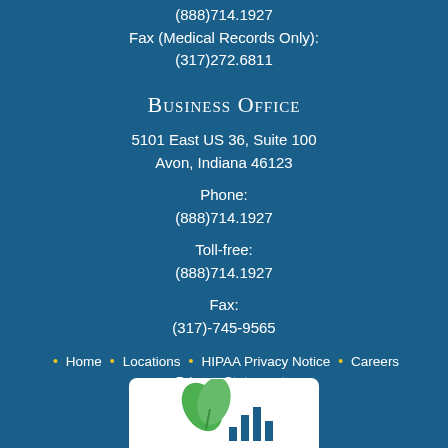(888)714.1927
Fax (Medical Records Only):
(317)272.6811
Business Office
5101 East US 36, Suite 100
Avon, Indiana 46123
Phone:
(888)714.1927
Toll-free:
(888)714.1927
Fax:
(317)-745-9565
Home  •  Locations  •  HIPAA Privacy Notice  •  Careers  •  Privacy Statement
[Figure (logo): Organization logo with green leaves and blue bar chart elements on white background]